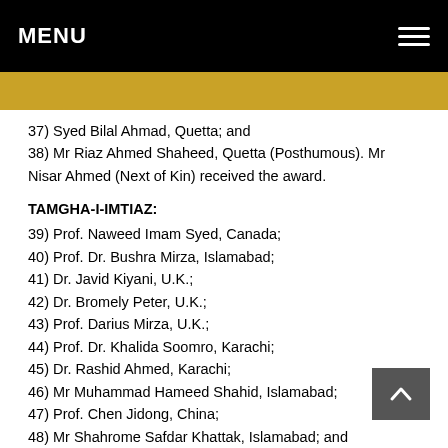MENU
37) Syed Bilal Ahmad, Quetta; and
38) Mr Riaz Ahmed Shaheed, Quetta (Posthumous). Mr Nisar Ahmed (Next of Kin) received the award.
TAMGHA-I-IMTIAZ:
39) Prof. Naweed Imam Syed, Canada;
40) Prof. Dr. Bushra Mirza, Islamabad;
41) Dr. Javid Kiyani, U.K.;
42) Dr. Bromely Peter, U.K.;
43) Prof. Darius Mirza, U.K.;
44) Prof. Dr. Khalida Soomro, Karachi;
45) Dr. Rashid Ahmed, Karachi;
46) Mr Muhammad Hameed Shahid, Islamabad;
47) Prof. Chen Jidong, China;
48) Mr Shahrome Safdar Khattak, Islamabad; and
49) Mr Muhammad Mushtaq Ahmed, Lahore.
TAMGHA-I-KHIDMAT: